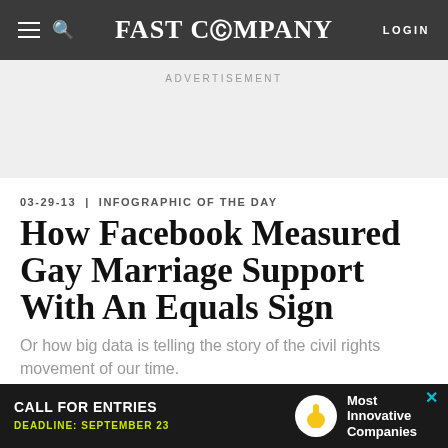FAST COMPANY — LOGIN
ADVERTISEMENT
03-29-13 | INFOGRAPHIC OF THE DAY
How Facebook Measured Gay Marriage Support With An Equals Sign
Or how big data is telling the story of the civil rights movement of our time.
[Figure (other): Bottom advertisement banner: CALL FOR ENTRIES, DEADLINE: SEPTEMBER 23, Most Innovative Companies]
[Figure (other): Social sharing icons row: Facebook, Twitter, LinkedIn, and another icon separated by vertical dividers]